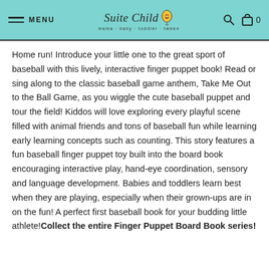MENU | Suite Child mama · baby · toddler · tween | 🔍 🛍 0
Home run! Introduce your little one to the great sport of baseball with this lively, interactive finger puppet book! Read or sing along to the classic baseball game anthem, Take Me Out to the Ball Game, as you wiggle the cute baseball puppet and tour the field! Kiddos will love exploring every playful scene filled with animal friends and tons of baseball fun while learning early learning concepts such as counting. This story features a fun baseball finger puppet toy built into the board book encouraging interactive play, hand-eye coordination, sensory and language development. Babies and toddlers learn best when they are playing, especially when their grown-ups are in on the fun! A perfect first baseball book for your budding little athlete!Collect the entire Finger Puppet Board Book series!